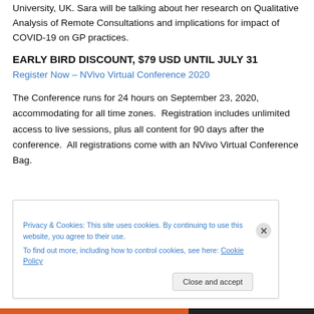University, UK. Sara will be talking about her research on Qualitative Analysis of Remote Consultations and implications for impact of COVID-19 on GP practices.
EARLY BIRD DISCOUNT, $79 USD UNTIL JULY 31
Register Now – NVivo Virtual Conference 2020
The Conference runs for 24 hours on September 23, 2020, accommodating for all time zones.  Registration includes unlimited access to live sessions, plus all content for 90 days after the conference.  All registrations come with an NVivo Virtual Conference Bag.
Privacy & Cookies: This site uses cookies. By continuing to use this website, you agree to their use. To find out more, including how to control cookies, see here: Cookie Policy